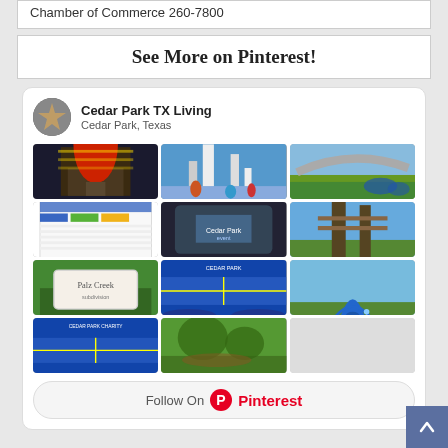Chamber of Commerce 260-7800
See More on Pinterest!
[Figure (screenshot): Pinterest board widget for 'Cedar Park TX Living' from Cedar Park, Texas, showing a 3x4 grid of photos of local attractions including holiday lights, water parks, a skyline bridge, sports events, neighborhood entrance signs, and park sculptures. Includes a 'Follow On Pinterest' button at the bottom.]